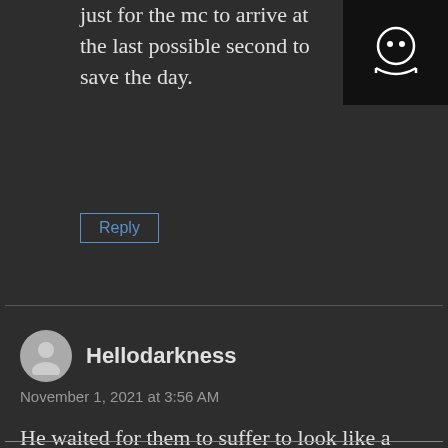just for the mc to arrive at the last possible second to save the day.
Reply
Hellodarkness
November 1, 2021 at 3:56 AM
He waited for them to suffer to look like a hero who saves the damsel in distress ?
Reply